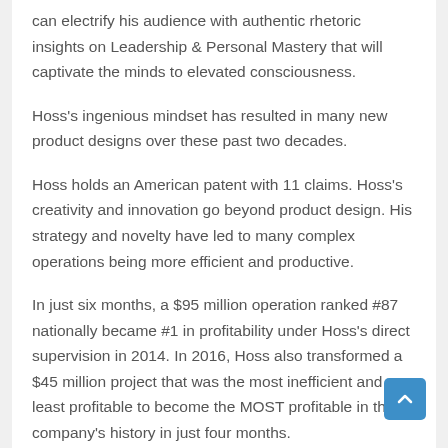can electrify his audience with authentic rhetoric insights on Leadership & Personal Mastery that will captivate the minds to elevated consciousness.
Hoss's ingenious mindset has resulted in many new product designs over these past two decades.
Hoss holds an American patent with 11 claims. Hoss's creativity and innovation go beyond product design. His strategy and novelty have led to many complex operations being more efficient and productive.
In just six months, a $95 million operation ranked #87 nationally became #1 in profitability under Hoss's direct supervision in 2014. In 2016, Hoss also transformed a $45 million project that was the most inefficient and least profitable to become the MOST profitable in the company's history in just four months.